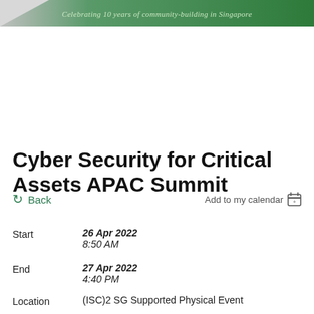[Figure (illustration): Green and grey header banner with italic text 'Celebrating 10 years of community-building in Singapore']
Back
Add to my calendar
Cyber Security for Critical Assets APAC Summit
Start
26 Apr 2022
8:50 AM
End
27 Apr 2022
4:40 PM
Location
(ISC)2 SG Supported Physical Event